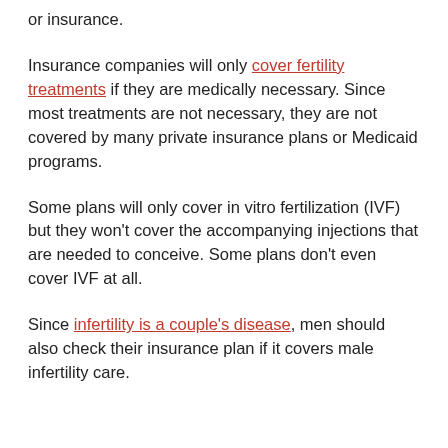or insurance.
Insurance companies will only cover fertility treatments if they are medically necessary. Since most treatments are not necessary, they are not covered by many private insurance plans or Medicaid programs.
Some plans will only cover in vitro fertilization (IVF) but they won't cover the accompanying injections that are needed to conceive. Some plans don't even cover IVF at all.
Since infertility is a couple's disease, men should also check their insurance plan if it covers male infertility care.